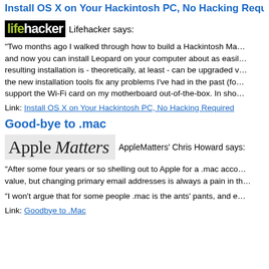Install OS X on Your Hackintosh PC, No Hacking Required
[Figure (logo): Lifehacker logo — black background with 'life' in yellow-green and 'hacker' in white]
Lifehacker says:
"Two months ago I walked through how to build a Hackintosh Mac and now you can install Leopard on your computer about as easily... resulting installation is - theoretically, at least - can be upgraded v... the new installation tools fix any problems I've had in the past (fo... support the Wi-Fi card on my motherboard out-of-the-box. In sho...
Link: Install OS X on Your Hackintosh PC, No Hacking Required
Good-bye to .mac
[Figure (logo): Apple Matters logo — grey background with 'Apple Matters' in serif font, Matters in italic]
AppleMatters' Chris Howard says:
"After some four years or so shelling out to Apple for a .mac acco... value, but changing primary email addresses is always a pain in th...
"I won't argue that for some people .mac is the ants' pants, and e...
Link: Goodbye to .Mac